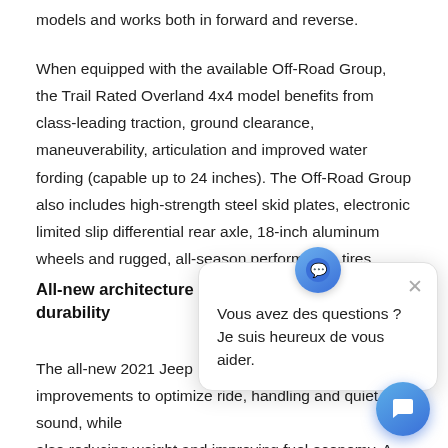models and works both in forward and reverse.
When equipped with the available Off-Road Group, the Trail Rated Overland 4x4 model benefits from class-leading traction, ground clearance, maneuverability, articulation and improved water fording (capable up to 24 inches). The Off-Road Group also includes high-strength steel skid plates, electronic limited slip differential rear axle, 18-inch aluminum wheels and rugged, all-season performance tires.
All-new architecture delivers durability
The all-new 2021 Jeep Grand improvements to optimize ride, handling and quiet sound, while also reducing weight and improving fuel economy. A new u design along with three available 4x4 systems (Quadra-Trac